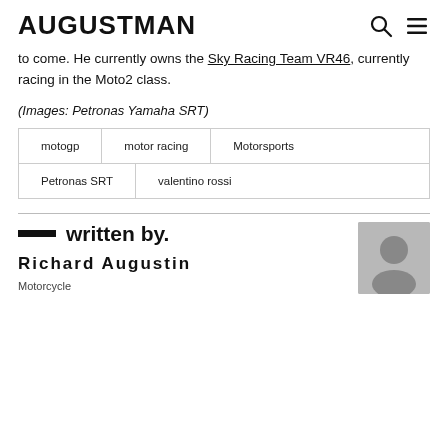AUGUSTMAN
to come. He currently owns the Sky Racing Team VR46, currently racing in the Moto2 class.
(Images: Petronas Yamaha SRT)
motogp
motor racing
Motorsports
Petronas SRT
valentino rossi
written by.
Richard Augustin
Motorcycle